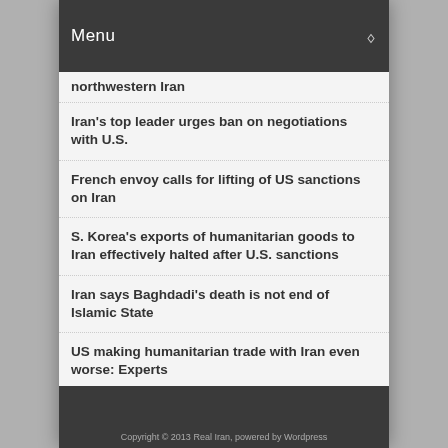Menu
northwestern Iran
Iran's top leader urges ban on negotiations with U.S.
French envoy calls for lifting of US sanctions on Iran
S. Korea's exports of humanitarian goods to Iran effectively halted after U.S. sanctions
Iran says Baghdadi's death is not end of Islamic State
US making humanitarian trade with Iran even worse: Experts
More on Top Stories
Copyright © 2013 Real Iran, powered by Wordpress